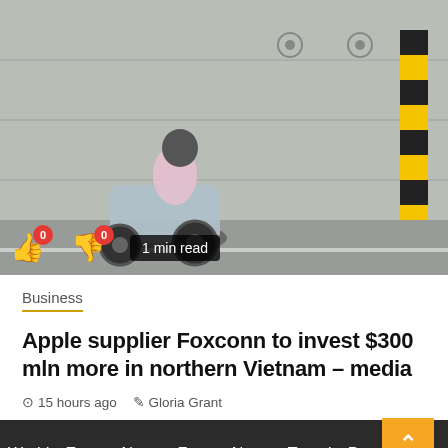[Figure (photo): A person riding a scooter/moped on a street with a concrete wall and yellow-black striped post in the background. Thumbs up and thumbs down icons with count badges (0 each) overlaid at the bottom left, and a '1 min read' badge.]
Business
Apple supplier Foxconn to invest $300 mln more in northern Vietnam – media
15 hours ago   Gloria Grant
World   Europe News   France News   Travel   Press Release   Sports   Politics   Sponsored   Pin Posts
Copyright © Eunews24 All rights reserved. | Newsphere by AF themes.